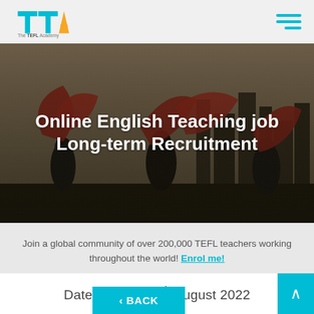The TEFL Academy (TTA) logo and navigation menu
[Figure (illustration): Hero background image of silhouetted people waving red fans against a city skyline at dusk, with a dark overlay]
Online English Teaching job Long-term Recruitment
Join a global community of over 200,000 TEFL teachers working throughout the world! Enrol me!
Date Posted: 24th August 2022